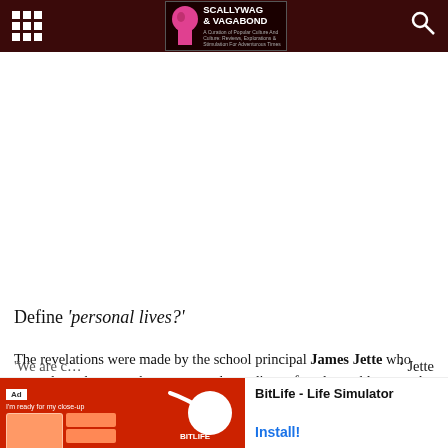SCALLYWAG & VAGABOND
Define 'personal lives?'
The revelations were made by the school principal James Jette who sent a letter home to the parents and guardians of student-athletes on the team WCVB reported.
'We are c[ut off]' Jette
[Figure (screenshot): BitLife - Life Simulator advertisement banner at the bottom of the page]